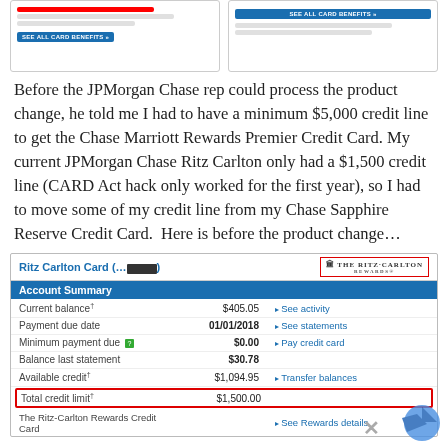[Figure (screenshot): Two credit card product screenshots side by side with 'SEE ALL CARD BENEFITS' buttons]
Before the JPMorgan Chase rep could process the product change, he told me I had to have a minimum $5,000 credit line to get the Chase Marriott Rewards Premier Credit Card. My current JPMorgan Chase Ritz Carlton only had a $1,500 credit line (CARD Act hack only worked for the first year), so I had to move some of my credit line from my Chase Sapphire Reserve Credit Card.  Here is before the product change...
| Current balance† | $405.05 | See activity |
| Payment due date | 01/01/2018 | See statements |
| Minimum payment due | $0.00 | Pay credit card |
| Balance last statement | $30.78 |  |
| Available credit† | $1,094.95 | Transfer balances |
| Total credit limit† | $1,500.00 |  |
| The Ritz-Carlton Rewards Credit Card |  | See Rewards details |